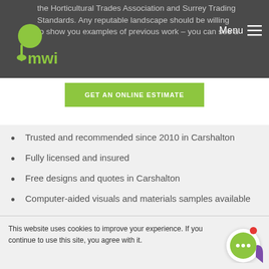the Horticultural Trades Association and Surrey Trading Standards. Any reputable landscape should be willing to show you examples of previous work – you can see a
[Figure (logo): mwi landscaping logo – green tree and shovel icon with green stylized text 'mwi']
Menu
GET AN ONLINE ESTIMATE
Trusted and recommended since 2010 in Carshalton
Fully licensed and insured
Free designs and quotes in Carshalton
Computer-aided visuals and materials samples available
One team from start to finish, with the credential you can trust
This website uses cookies to improve your experience. If you continue to use this site, you agree with it.